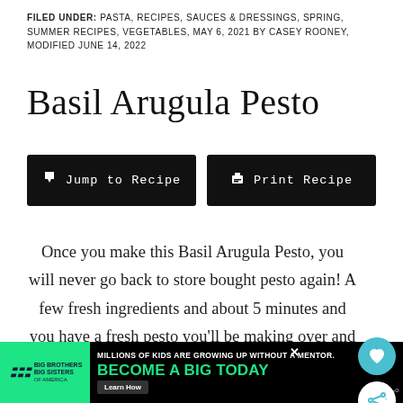FILED UNDER: PASTA, RECIPES, SAUCES & DRESSINGS, SPRING, SUMMER RECIPES, VEGETABLES, MAY 6, 2021 BY CASEY ROONEY, MODIFIED JUNE 14, 2022
Basil Arugula Pesto
Jump to Recipe | Print Recipe
Once you make this Basil Arugula Pesto, you will never go back to store bought pesto again! A few fresh ingredients and about 5 minutes and you have a fresh pesto you'll be making over and over.
[Figure (infographic): Ad banner: Big Brothers Big Sisters — Millions of kids are growing up without a mentor. Become a Big Today. Learn How.]